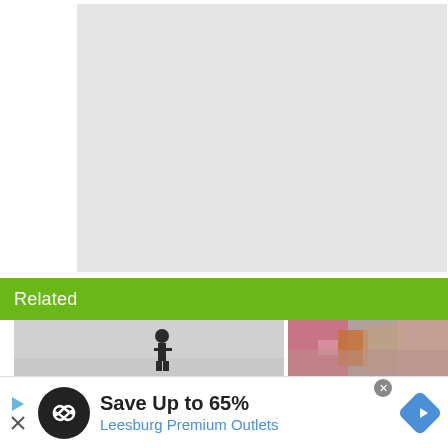[Figure (other): Large light gray placeholder image box]
Related
[Figure (photo): Two thumbnail related images side by side: left shows a dark silhouette figure on a light background, right shows a pink/colorful close-up image]
[Figure (infographic): Advertisement banner: Save Up to 65% - Leesburg Premium Outlets with circular logo and navigation arrow icon]